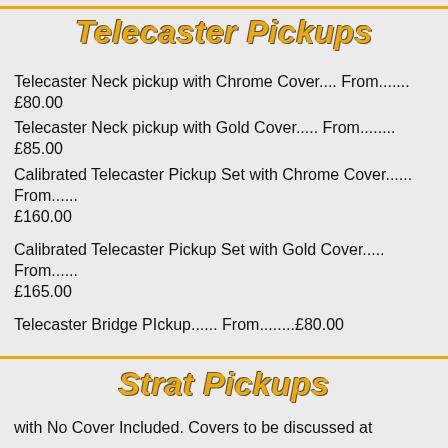Telecaster Pickups
Telecaster Neck pickup with Chrome Cover.... From.......£80.00
Telecaster Neck pickup with Gold Cover..... From........£85.00
Calibrated Telecaster Pickup Set with Chrome Cover...... From...... £160.00
Calibrated Telecaster Pickup Set with Gold Cover..... From...... £165.00
Telecaster Bridge PIckup...... From........£80.00
Strat Pickups
with No Cover Included. Covers to be discussed at